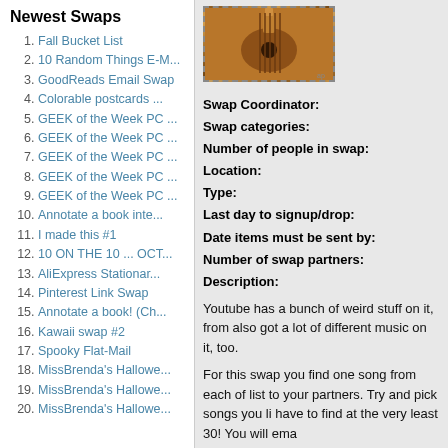Newest Swaps
1. Fall Bucket List
2. 10 Random Things E-M...
3. GoodReads Email Swap
4. Colorable postcards ...
5. GEEK of the Week PC ...
6. GEEK of the Week PC ...
7. GEEK of the Week PC ...
8. GEEK of the Week PC ...
9. GEEK of the Week PC ...
10. Annotate a book inte...
11. I made this #1
12. 10 ON THE 10 ... OCT...
13. AliExpress Stationar...
14. Pinterest Link Swap
15. Annotate a book! (Ch...
16. Kawaii swap #2
17. Spooky Flat-Mail
18. MissBrenda's Hallowe...
19. MissBrenda's Hallowe...
20. MissBrenda's Hallowe...
[Figure (photo): Photo of a guitar with dashed border]
Swap Coordinator:
Swap categories:
Number of people in swap:
Location:
Type:
Last day to signup/drop:
Date items must be sent by:
Number of swap partners:
Description:
Youtube has a bunch of weird stuff on it, from also got a lot of different music on it, too.
For this swap you find one song from each of list to your partners. Try and pick songs you li have to find at the very least 30! You will ema
These songs can be anything that fall under t Anti-Folk
quit what you don't love, we are free!
Rock
Gypsy punk
Salsa
Christian hip hop